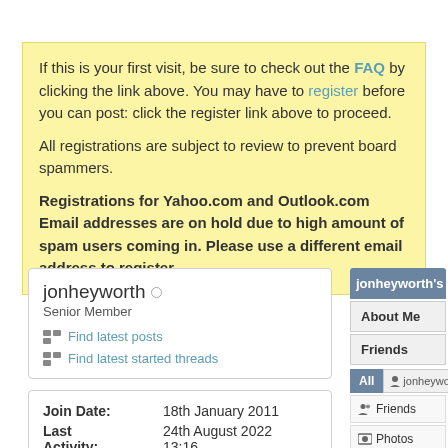If this is your first visit, be sure to check out the FAQ by clicking the link above. You may have to register before you can post: click the register link above to proceed.

All registrations are subject to review to prevent board spammers.

Registrations for Yahoo.com and Outlook.com Email addresses are on hold due to high amount of spam users coming in. Please use a different email address to register
jonheyworth
Senior Member
Find latest posts
Find latest started threads
| Join Date: | 18th January 2011 |
| Last Activity: | 24th August 2022 13:16 |
jonheyworth's
About Me
Friends
All  jonheyworth
Friends
Photos